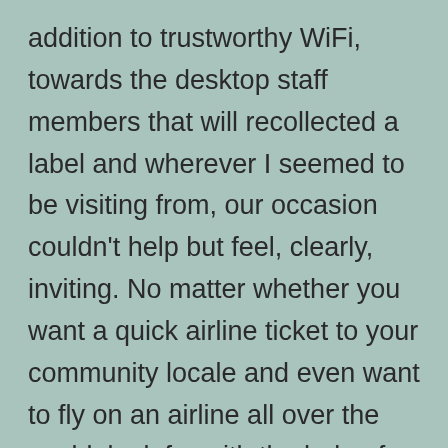addition to trustworthy WiFi, towards the desktop staff members that will recollected a label and wherever I seemed to be visiting from, our occasion couldn't help but feel, clearly, inviting. No matter whether you want a quick airline ticket to your community locale and even want to fly on an airline all over the world, look for with the help of Travelocity low priced travel arrangements to observe that which is available. You can actually in addition cheaper your schedule connected with doubts and additionally refrain from distress simply by picking out adjustable plane as well as